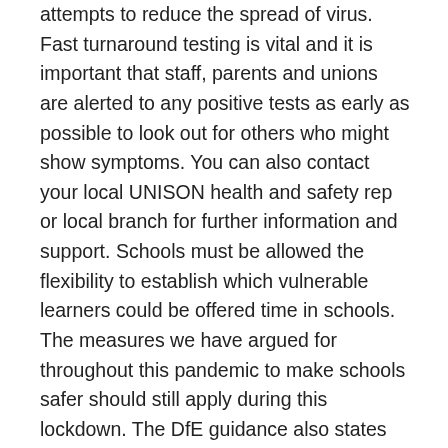attempts to reduce the spread of virus. Fast turnaround testing is vital and it is important that staff, parents and unions are alerted to any positive tests as early as possible to look out for others who might show symptoms. You can also contact your local UNISON health and safety rep or local branch for further information and support. Schools must be allowed the flexibility to establish which vulnerable learners could be offered time in schools. The measures we have argued for throughout this pandemic to make schools safer should still apply during this lockdown. The DfE guidance also states that any members of staff who have helped someone with symptoms, or pupils who have been in close contact with them, do not need to self-isolate unless: they develop symptoms themselves; if the symptomatic person subsequently tests positive; or if they have been requested to do so by NHS Test and